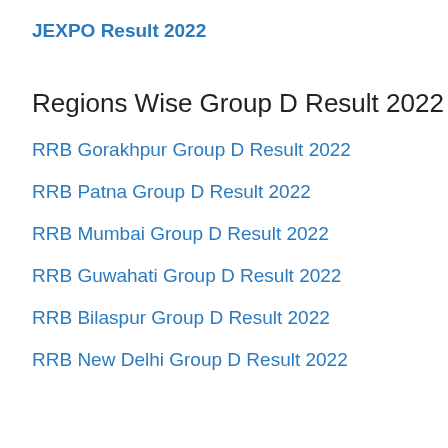JEXPO Result 2022
Regions Wise Group D Result 2022
RRB Gorakhpur Group D Result 2022
RRB Patna Group D Result 2022
RRB Mumbai Group D Result 2022
RRB Guwahati Group D Result 2022
RRB Bilaspur Group D Result 2022
RRB New Delhi Group D Result 2022